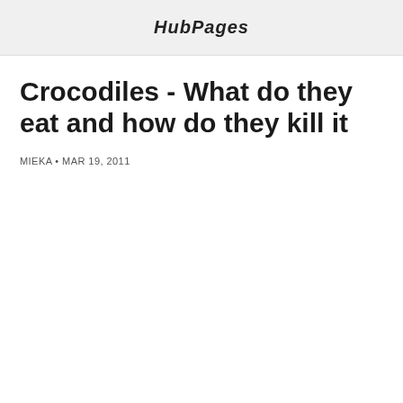HubPages
Crocodiles - What do they eat and how do they kill it
MIEKA • MAR 19, 2011